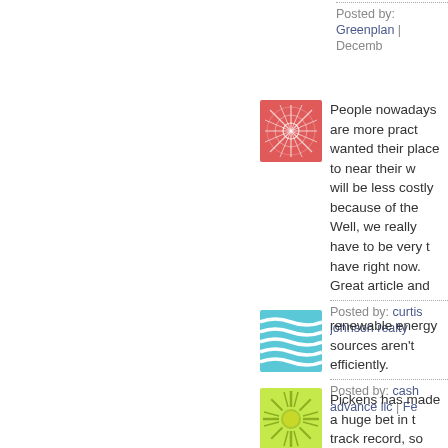Posted by: Greenplan | Decemb...
[Figure (illustration): Avatar icon with pink/red decorative pattern on white background]
People nowadays are more pract... wanted their place to near their w... will be less costly because of th... Well, we really have to be very t... have right now. Great article and...
Posted by: curtis johnson realty...
[Figure (illustration): Avatar icon with blue wavy lines pattern]
renewable energy sources aren't... efficiently.
Posted by: cash advance llc | Fe...
[Figure (illustration): Avatar icon with green sunburst/radial pattern with yellow-green center]
Pickens has made a huge bet in t... track record, so wind power is w... all of us own wind farms, but yo... Investment Advisor at www.clar... energy funds or more in-depth i...